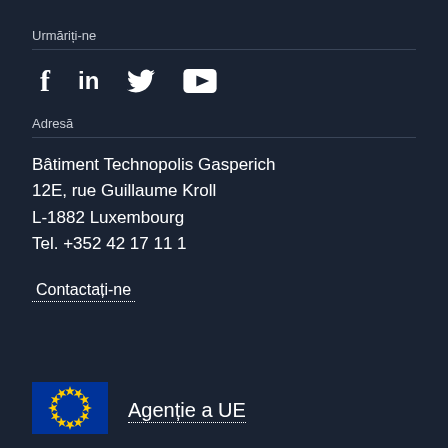Urmăriți-ne
[Figure (infographic): Social media icons: Facebook (f), LinkedIn (in), Twitter (bird), YouTube (play button triangle)]
Adresă
Bâtiment Technopolis Gasperich
12E, rue Guillaume Kroll
L-1882 Luxembourg
Tel. +352 42 17 11 1
Contactați-ne
[Figure (infographic): EU flag (blue rectangle with yellow stars in a circle) alongside text 'Agenție a UE' with dotted underline]